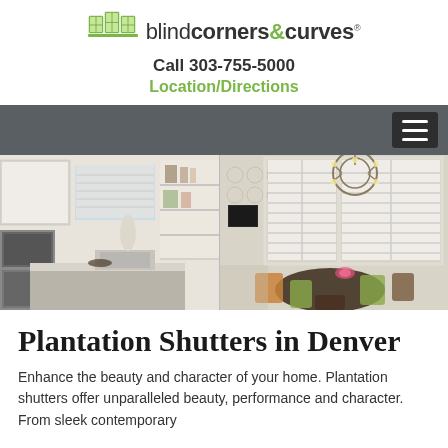blind corners & curves — Call 303-755-5000 — Location/Directions
[Figure (screenshot): Website navigation bar with hamburger menu icon on dark gray background]
[Figure (photo): Split hero image showing two interior rooms: left side shows a white kitchen with plantation shutters on windows, shelving and appliances; right side shows a dining room with white plantation shutters on bay windows, a chandelier, round dark table and colorful chairs with patterned wallpaper.]
Plantation Shutters in Denver
Enhance the beauty and character of your home. Plantation shutters offer unparalleled beauty, performance and character. From sleek contemporary